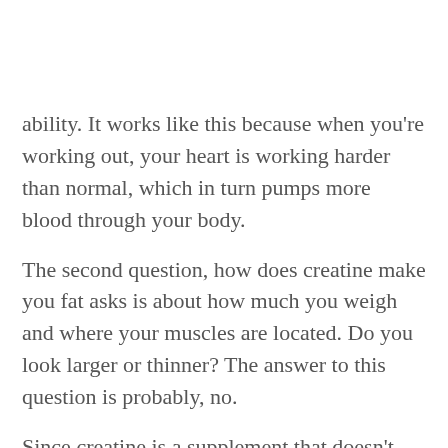ability. It works like this because when you're working out, your heart is working harder than normal, which in turn pumps more blood through your body.
The second question, how does creatine make you fat asks is about how much you weigh and where your muscles are located. Do you look larger or thinner? The answer to this question is probably, no.
Since creatine is a supplement that doesn't contain any fat, it should have no effect on the way you or weigh. With so many competitors using this type